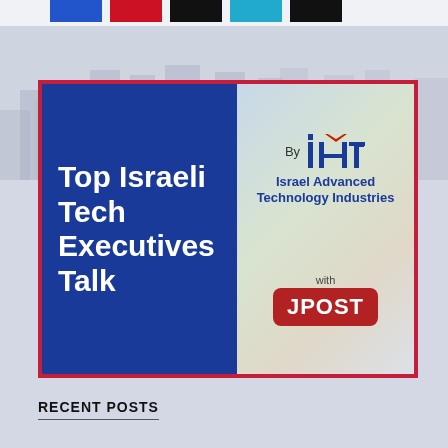[Figure (logo): Top Israeli Tech Executives Talk podcast banner. Left blue panel with white bold text 'Top Israeli Tech Executives Talk'. Right panel with IATI (Israel Advanced Technology Industries) logo and JPOST logo, with decorative blurred image background.]
RECENT POSTS